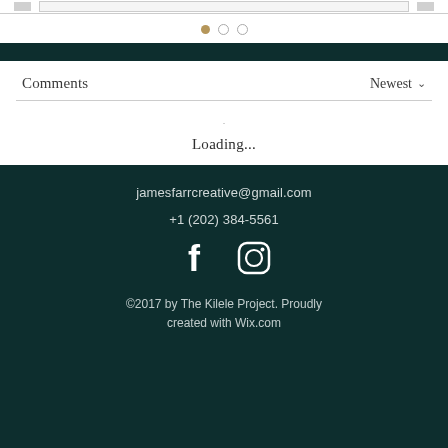[Figure (screenshot): Navigation bar with nav elements]
[Figure (other): Three dots pagination indicator: first filled gold, second and third empty gray circles]
[Figure (other): Dark teal horizontal bar]
Comments
Newest ∨
Loading...
jamesfarrcreative@gmail.com
+1 (202) 384-5561
[Figure (other): Facebook and Instagram social media icons in white on dark teal background]
©2017 by The Kilele Project. Proudly created with Wix.com